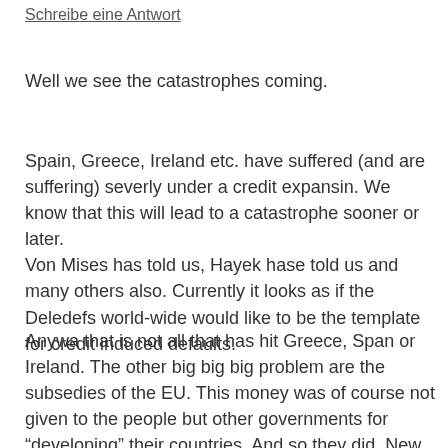Schreibe eine Antwort
Well we see the catastrophes coming.
Spain, Greece, Ireland etc. have suffered (and are suffering) severly under a credit expansin. We know that this will lead to a catastrophe sooner or later.
Von Mises has told us, Hayek hase told us and many others also. Currently it looks as if the Deledefs world-wide would like to be the template for credit induced defaults.
Anywa that is not all that has hit Greece, Span or Ireland. The other big big big problem are the subsedies of the EU. This money was of course not given to the people but other governments for “developing” their countries. And so they did. New streets of highes quality, bridges etc. All a bit larger because of he “expected” growth. Anyway in a free market that never would have happened (at least not so long and that absurd) and now they are hit not only with overwhelming credit